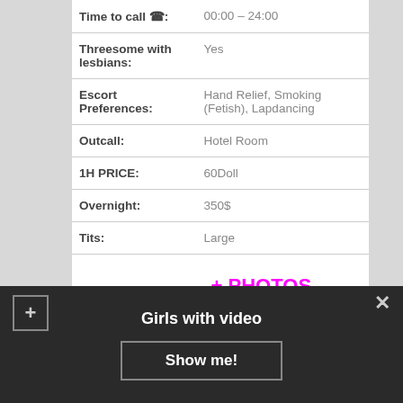| Time to call ☎: | 00:00 – 24:00 |
| Threesome with lesbians: | Yes |
| Escort Preferences: | Hand Relief, Smoking (Fetish), Lapdancing |
| Outcall: | Hotel Room |
| 1H PRICE: | 60Doll |
| Overnight: | 350$ |
| Tits: | Large |
+ PHOTOS
very nice meeting you... My name is
Girls with video
Show me!